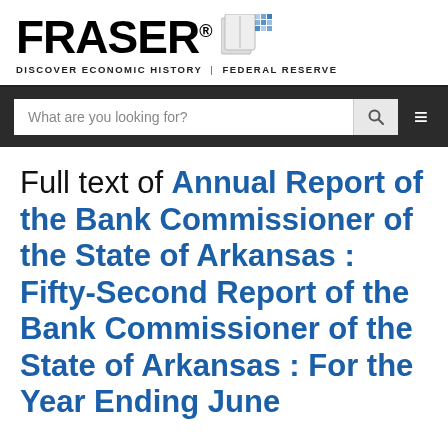FRASER® DISCOVER ECONOMIC HISTORY | FEDERAL RESERVE
What are you looking for?
Full text of Annual Report of the Bank Commissioner of the State of Arkansas : Fifty-Second Report of the Bank Commissioner of the State of Arkansas : For the Year Ending June